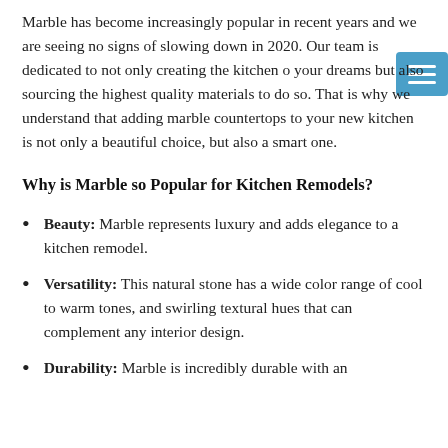Marble has become increasingly popular in recent years and we are seeing no signs of slowing down in 2020. Our team is dedicated to not only creating the kitchen of your dreams but also sourcing the highest quality materials to do so. That is why we understand that adding marble countertops to your new kitchen is not only a beautiful choice, but also a smart one.
Why is Marble so Popular for Kitchen Remodels?
Beauty: Marble represents luxury and adds elegance to a kitchen remodel.
Versatility: This natural stone has a wide color range of cool to warm tones, and swirling textural hues that can complement any interior design.
Durability: Marble is incredibly durable with an